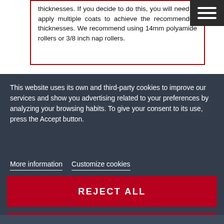thicknesses. If you decide to do this, you will need to apply multiple coats to achieve the recommended thicknesses. We recommend using 14mm polyamide rollers or 3/8 inch nap rollers.
[Figure (screenshot): Hamburger menu icon (three horizontal white lines on dark background) in top-right corner]
This website uses its own and third-party cookies to improve our services and show you advertising related to your preferences by analyzing your browsing habits. To give your consent to its use, press the Accept button.
The application
More information   Customize cookies
REJECT ALL
I ACCEPT